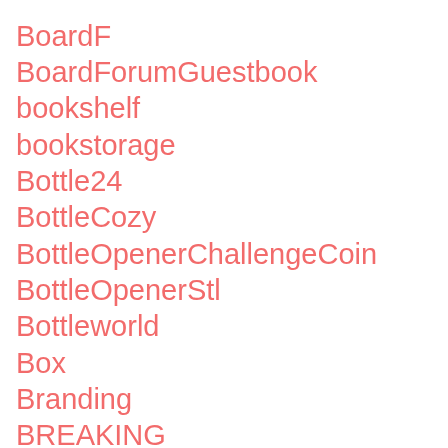BoardF
BoardForumGuestbook
bookshelf
bookstorage
Bottle24
BottleCozy
BottleOpenerChallengeCoin
BottleOpenerStl
Bottleworld
Box
Branding
BREAKING
BrightCreations
Bronze2